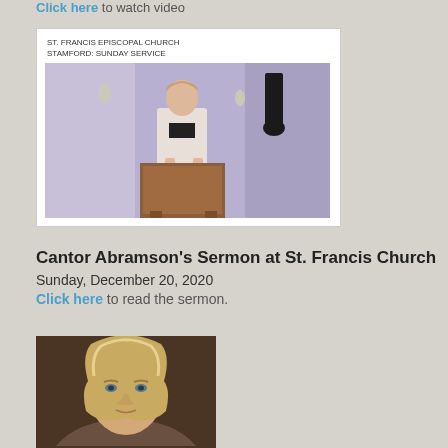Click here to watch video
[Figure (screenshot): Video thumbnail showing a woman speaking at a wooden podium in a church setting. Header text reads: ST. FRANCIS EPISCOPAL CHURCH STAMFORD: SUNDAY SERVICE]
Cantor Abramson's Sermon at St. Francis Church
Sunday, December 20, 2020
Click here to read the sermon.
[Figure (photo): Portrait photo of a woman with blonde hair against a dark brown background, cropped at top of page bottom]